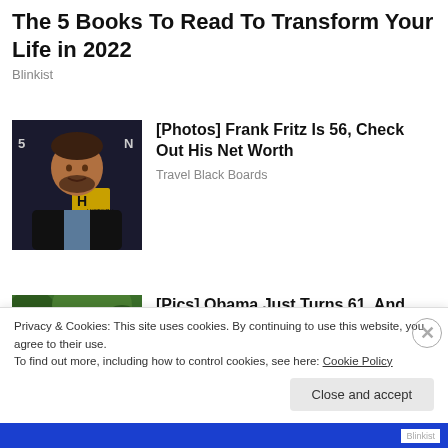The 5 Books To Read To Transform Your Life in 2022
Blinkist
[Figure (photo): Photo of Frank Fritz, a middle-aged man in a dark blazer, smiling, in front of a History channel backdrop]
[Photos] Frank Fritz Is 56, Check Out His Net Worth
Travel Black Boards
[Figure (photo): Photo of Barack Obama and Michelle Obama wearing sunglasses outdoors with greenery in the background]
[Pics] Obama Just Turns 61, And This Is The House He Lives In
Privacy & Cookies: This site uses cookies. By continuing to use this website, you agree to their use.
To find out more, including how to control cookies, see here: Cookie Policy
Close and accept